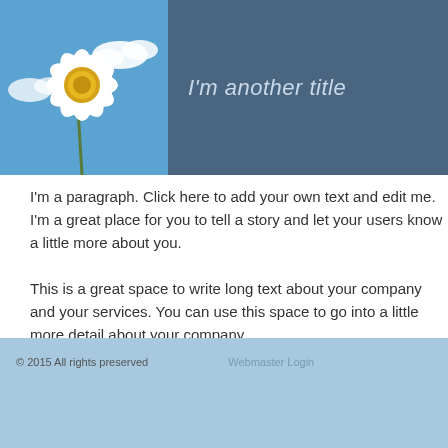[Figure (photo): Header banner with a daisy flower photo on the left (white daisy against blue sky with clouds) and a dark blue-grey panel on the right with italic title text 'I'm another title']
I'm another title
I'm a paragraph. Click here to add your own text and edit me. I'm a great place for you to tell a story and let your users know a little more about you.
This is a great space to write long text about your company and your services. You can use this space to go into a little more detail about your company.
© 2015 All rights preserved    Webmaster Login